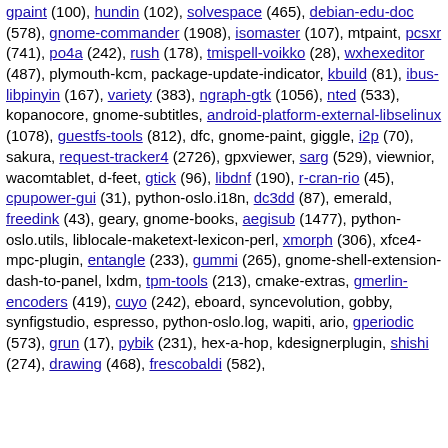gpaint (100), hundin (102), solvespace (465), debian-edu-doc (578), gnome-commander (1908), isomaster (107), mtpaint, pcsxr (741), po4a (242), rush (178), tmispell-voikko (28), wxhexeditor (487), plymouth-kcm, package-update-indicator, kbuild (81), ibus-libpinyin (167), variety (383), ngraph-gtk (1056), nted (533), kopanocore, gnome-subtitles, android-platform-external-libselinux (1078), guestfs-tools (812), dfc, gnome-paint, giggle, i2p (70), sakura, request-tracker4 (2726), gpxviewer, sarg (529), viewnior, wacomtablet, d-feet, gtick (96), libdnf (190), r-cran-rio (45), cpupower-gui (31), python-oslo.i18n, dc3dd (87), emerald, freedink (43), geary, gnome-books, aegisub (1477), python-oslo.utils, liblocale-maketext-lexicon-perl, xmorph (306), xfce4-mpc-plugin, entangle (233), gummi (265), gnome-shell-extension-dash-to-panel, lxdm, tpm-tools (213), cmake-extras, gmerlin-encoders (419), cuyo (242), eboard, syncevolution, gobby, synfigstudio, espresso, python-oslo.log, wapiti, ario, gperiodic (573), grun (17), pybik (231), hex-a-hop, kdesignerplugin, shishi (274), drawing (468), frescobaldi (582),